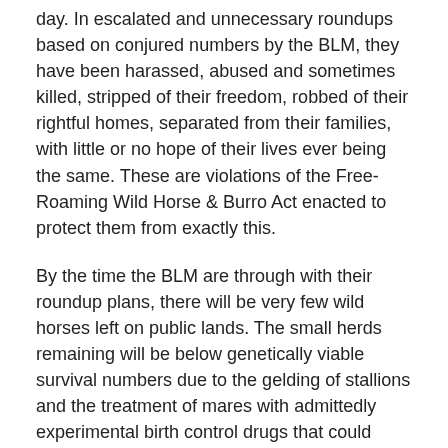day. In escalated and unnecessary roundups based on conjured numbers by the BLM, they have been harassed, abused and sometimes killed, stripped of their freedom, robbed of their rightful homes, separated from their families, with little or no hope of their lives ever being the same. These are violations of the Free-Roaming Wild Horse & Burro Act enacted to protect them from exactly this.
By the time the BLM are through with their roundup plans, there will be very few wild horses left on public lands. The small herds remaining will be below genetically viable survival numbers due to the gelding of stallions and the treatment of mares with admittedly experimental birth control drugs that could potentially cause the mares to be permanently sterile.